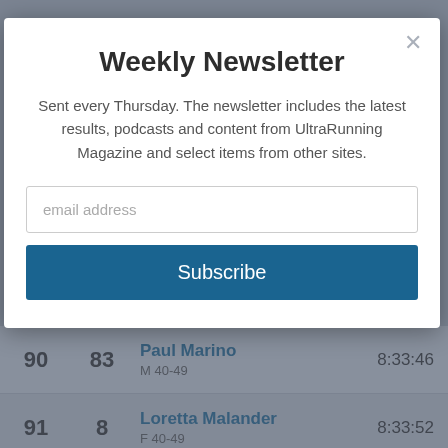Weekly Newsletter
Sent every Thursday. The newsletter includes the latest results, podcasts and content from UltraRunning Magazine and select items from other sites.
| Place | Bib | Name / Category | Time |
| --- | --- | --- | --- |
| 90 | 83 | Paul Marino
M 40-49 | 8:33:46 |
| 91 | 8 | Loretta Malander
F 40-49 | 8:33:52 |
| 92 | 84 | John Price
M 40-49 | 8:34:14 |